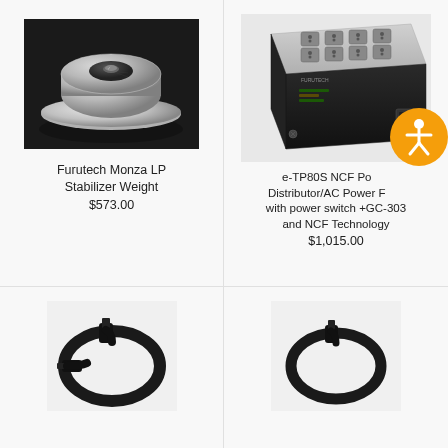[Figure (photo): Furutech Monza LP Stabilizer Weight - a silver/chrome disc-shaped turntable weight with carbon fiber top center, on dark background]
Furutech Monza LP Stabilizer Weight
$573.00
[Figure (photo): e-TP80S NCF Power Distributor/AC Power Filter with power switch +GC-303 and NCF Technology - black power distribution unit with multiple outlets on top, on white background. Orange accessibility icon overlaid.]
e-TP80S NCF Power Distributor/AC Power Filter with power switch +GC-303 and NCF Technology
$1,015.00
[Figure (photo): Black audio cable with circular coil shape on light background]
[Figure (photo): Black audio cable with circular coil shape on light background]